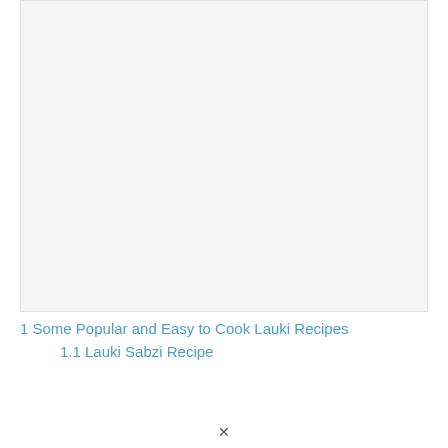[Figure (photo): Large image area showing lauki/bottle gourd content, mostly blank/white in this view]
1 Some Popular and Easy to Cook Lauki Recipes
1.1 Lauki Sabzi Recipe